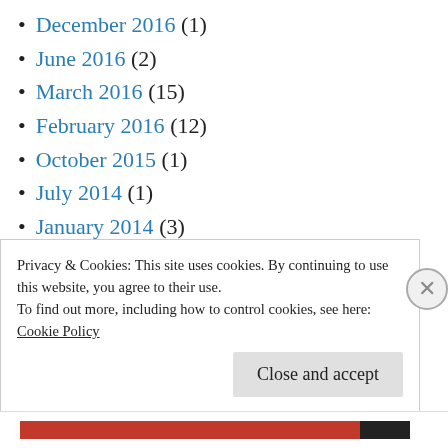December 2016 (1)
June 2016 (2)
March 2016 (15)
February 2016 (12)
October 2015 (1)
July 2014 (1)
January 2014 (3)
January 2013 (1)
January 2012 (1)
September 2011 (2)
April 2011 (7)
Privacy & Cookies: This site uses cookies. By continuing to use this website, you agree to their use.
To find out more, including how to control cookies, see here:
Cookie Policy
Close and accept